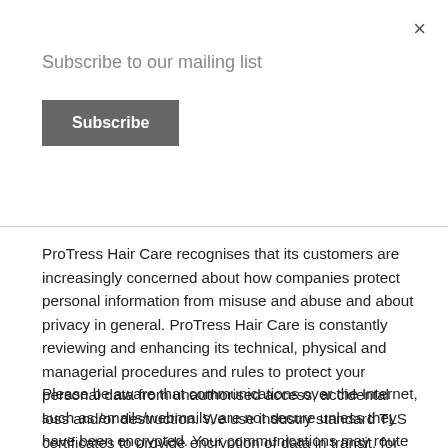×
Subscribe to our mailing list
Subscribe
ProTress Hair Care recognises that its customers are increasingly concerned about how companies protect personal information from misuse and abuse and about privacy in general. ProTress Hair Care is constantly reviewing and enhancing its technical, physical and managerial procedures and rules to protect your personal data from unauthorised access, accidental loss and/or destruction. We use industry standard TLS certificates to provide encryption of data in transit, for example, all access to ProTress Hair Care websites and management portals is covered by HTTPS.
Please be aware that communications over the Internet, such as emails/webmails, are not secure unless they have been encrypted. Your communications may route through a number of countries before being delivered – this is the nature of the